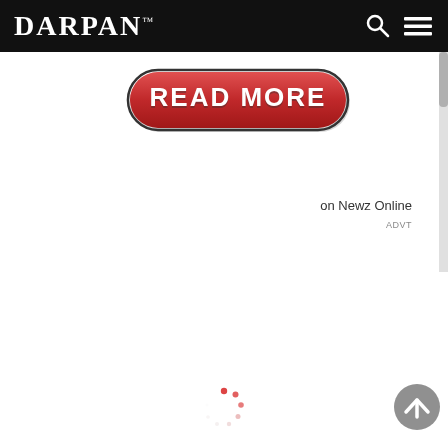DARPAN™
[Figure (other): Red pill-shaped button with white bold text 'READ MORE' and a dark border outline]
on Newz Online
ADVT
[Figure (other): Loading spinner dots in red/pink arranged in a circle]
[Figure (other): Grey circular scroll-to-top button with upward arrow]